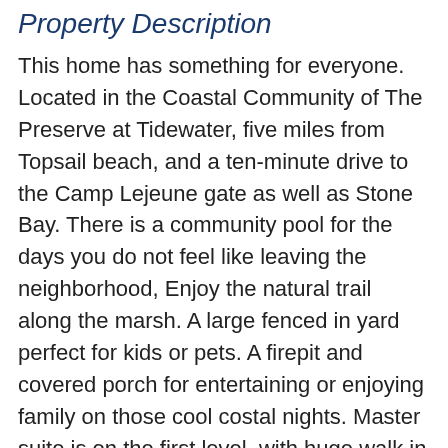Property Description
This home has something for everyone. Located in the Coastal Community of The Preserve at Tidewater, five miles from Topsail beach, and a ten-minute drive to the Camp Lejeune gate as well as Stone Bay. There is a community pool for the days you do not feel like leaving the neighborhood, Enjoy the natural trail along the marsh. A large fenced in yard perfect for kids or pets. A firepit and covered porch for entertaining or enjoying family on those cool costal nights. Master suite is on the first level, with huge walk in closet and soaking tub/shower combo. Open floor plan with an elevation K